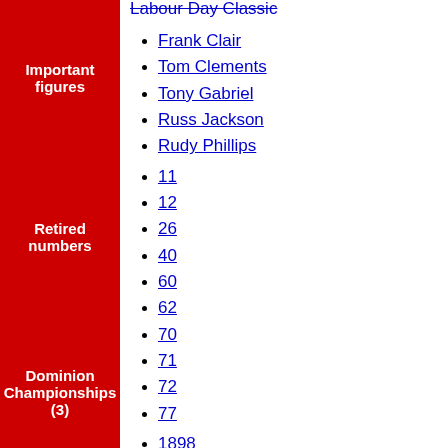Labour Day Classic (linked)
Important figures
Frank Clair
Tom Clements
Tony Gabriel
Russ Jackson
Rudy Phillips
Retired numbers
11
12
26
40
60
62
70
71
72
77
Dominion Championships (3)
1898
1900
1902
1925
1926
1940